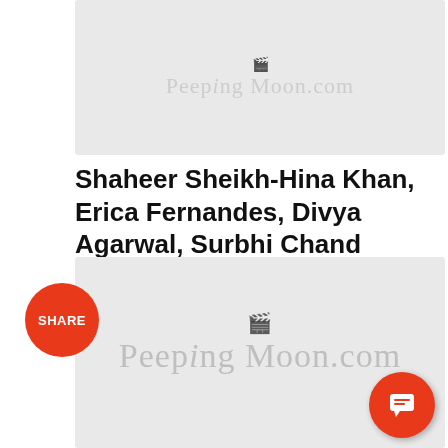[Figure (photo): Gray placeholder image block with PeepingMoon.com watermark logo in center]
Shaheer Sheikh-Hina Khan, Erica Fernandes, Divya Agarwal, Surbhi Chand
[Figure (photo): Gray placeholder image block with PeepingMoon.com watermark logo in center, SHARE button on left, chat/comment button on bottom right]